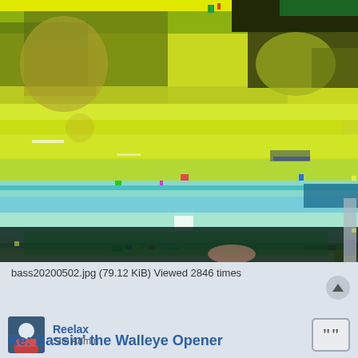[Figure (photo): A corrupted/glitched JPEG image showing fragmented, distorted colorful bands — yellows, greens, cyans, and blues — with partial recognizable fragments of what appears to be a person and a fish, heavily corrupted with digital artifacts.]
bass20200502.jpg (79.12 KiB) Viewed 2846 times
Reelax
Site Admin
Re: Bassin' the Walleye Opener